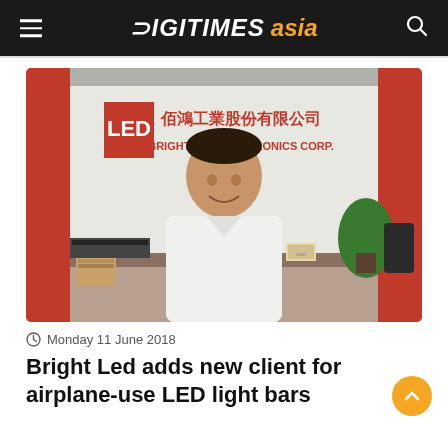DIGITIMES asia
[Figure (photo): A man in a white short-sleeve shirt standing in front of a Bright LED Electronics Corp sign with Chinese characters, inside an office. There are plants and items on a desk in the background.]
Monday 11 June 2018
Bright Led adds new client for airplane-use LED light bars